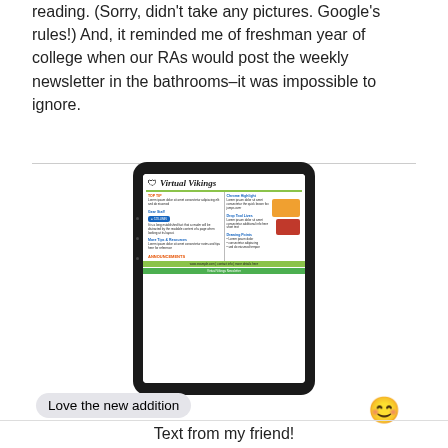reading. (Sorry, didn't take any pictures. Google's rules!) And, it reminded me of freshman year of college when our RAs would post the weekly newsletter in the bathrooms–it was impossible to ignore.
[Figure (screenshot): A photo of a tablet device displaying a school newsletter titled 'Virtual Vikings', shown propped up on a dark tablet/e-reader. The newsletter has a green color scheme with multiple sections.]
Love the new addition
😊
Text from my friend!